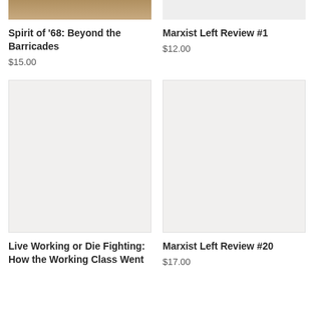[Figure (photo): Book cover image for Spirit of '68: Beyond the Barricades, partially visible at top]
Spirit of '68: Beyond the Barricades
$15.00
[Figure (photo): Book cover image for Marxist Left Review #1, partially visible at top]
Marxist Left Review #1
$12.00
[Figure (photo): Book cover image for Live Working or Die Fighting: How the Working Class Went]
Live Working or Die Fighting: How the Working Class Went
[Figure (photo): Book cover image for Marxist Left Review #20]
Marxist Left Review #20
$17.00